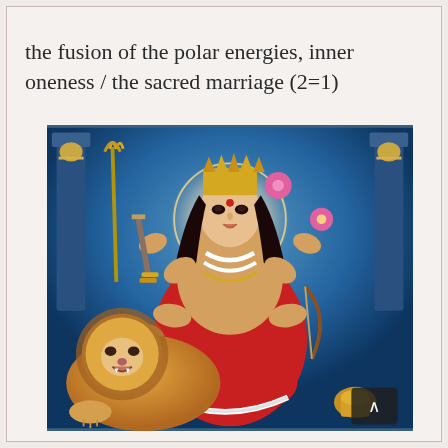the fusion of the polar energies, inner oneness / the sacred marriage (2=1)
[Figure (illustration): Colorful traditional Hindu religious illustration of Goddess Durga seated on a lion, with multiple arms holding various objects including a trident, sword, lotus flower, and bow. She wears a red garment, elaborate gold jewelry, and a crown. The background is deep blue with temple architecture.]